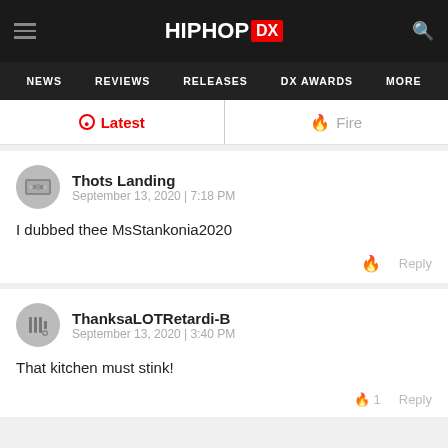HipHopDX - NEWS | REVIEWS | RELEASES | DX AWARDS | MORE
Latest | Fire
Thots Landing
September 13, 2020 | 7:18 PM

I dubbed thee MsStankonia2020
ThanksaLOTRetardi-B
September 13, 2020 | 3:40 PM

That kitchen must stink!